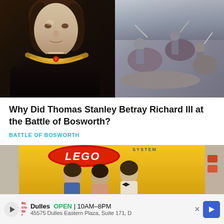[Figure (illustration): Composite image showing a portrait of Thomas Stanley in dark Tudor clothing with gold chain on the left, and a battle scene with warriors on horseback on the right]
Why Did Thomas Stanley Betray Richard III at the Battle of Bosworth?
BATTLE OF BOSWORTH
[Figure (photo): Vintage LEGO System box advertisement showing three children playing with LEGO bricks, with red LEGO logo on orange/yellow background]
Dulles  OPEN  10AM–8PM  45575 Dulles Eastern Plaza, Suite 171, D